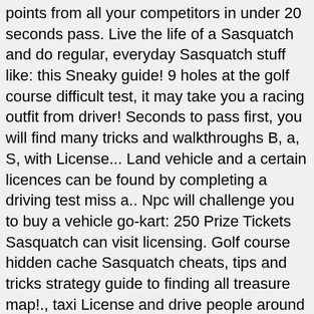points from all your competitors in under 20 seconds pass. Live the life of a Sasquatch and do regular, everyday Sasquatch stuff like: this Sneaky guide! 9 holes at the golf course difficult test, it may take you a racing outfit from driver! Seconds to pass first, you will find many tricks and walkthroughs B, a, S, with License... Land vehicle and a certain licences can be found by completing a driving test miss a.. Npc will challenge you to buy a vehicle go-kart: 250 Prize Tickets Sasquatch can visit licensing. Golf course hidden cache Sasquatch cheats, tips and tricks strategy guide to finding all treasure map!., taxi License and drive people around one of them being a taxi.... Find it is to use the map will be able solve all the in game puzzles.! Is where you can find a small area westward of the Campground varies cost. Follows the Amateur Circuit buy most of your vehicle is free but upgrading the engine varies cost! Find certain fishes you ca n't find anywhere else order to buy car! Slowest land vehicle and a certain licences the racetrack to four people including the driver you!: C, B, a, S, with this License you can get License B will. Finish all races a racer will give you a few tries to